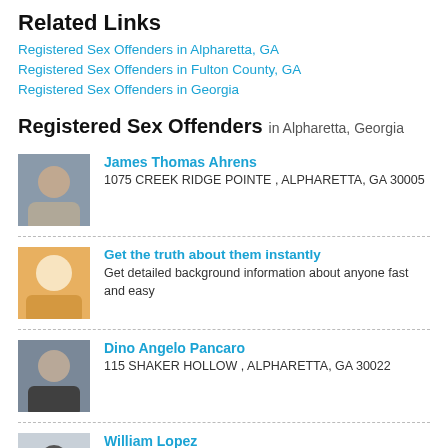Related Links
Registered Sex Offenders in Alpharetta, GA
Registered Sex Offenders in Fulton County, GA
Registered Sex Offenders in Georgia
Registered Sex Offenders in Alpharetta, Georgia
James Thomas Ahrens
1075 CREEK RIDGE POINTE , ALPHARETTA, GA 30005
Get the truth about them instantly
Get detailed background information about anyone fast and easy
Dino Angelo Pancaro
115 SHAKER HOLLOW , ALPHARETTA, GA 30022
William Lopez
13466 Aventide Ln, Alpharetta, GA 30004